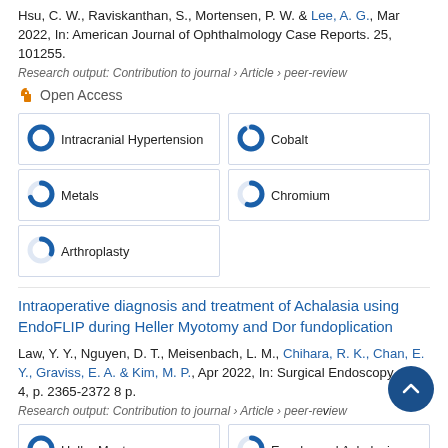Hsu, C. W., Raviskanthan, S., Mortensen, P. W. & Lee, A. G., Mar 2022, In: American Journal of Ophthalmology Case Reports. 25, 101255.
Research output: Contribution to journal › Article › peer-review
Open Access
[Figure (infographic): Keyword badges with donut chart icons: Intracranial Hypertension (~100%), Cobalt (~90%), Metals (~70%), Chromium (~55%), Arthroplasty (~30%)]
Intraoperative diagnosis and treatment of Achalasia using EndoFLIP during Heller Myotomy and Dor fundoplication
Law, Y. Y., Nguyen, D. T., Meisenbach, L. M., Chihara, R. K., Chan, E. Y., Graviss, E. A. & Kim, M. P., Apr 2022, In: Surgical Endoscopy. 36, 4, p. 2365-2372 8 p.
Research output: Contribution to journal › Article › peer-review
[Figure (infographic): Keyword badges with donut chart icons: Heller Myotomy (~100%), Esophageal Achalasia (~55%)]